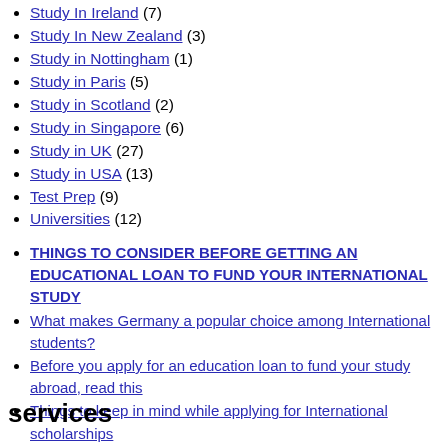Study In Ireland (7)
Study In New Zealand (3)
Study in Nottingham (1)
Study in Paris (5)
Study in Scotland (2)
Study in Singapore (6)
Study in UK (27)
Study in USA (13)
Test Prep (9)
Universities (12)
THINGS TO CONSIDER BEFORE GETTING AN EDUCATIONAL LOAN TO FUND YOUR INTERNATIONAL STUDY
What makes Germany a popular choice among International students?
Before you apply for an education loan to fund your study abroad, read this
Things to keep in mind while applying for International scholarships
Scholarships all you need to know
services